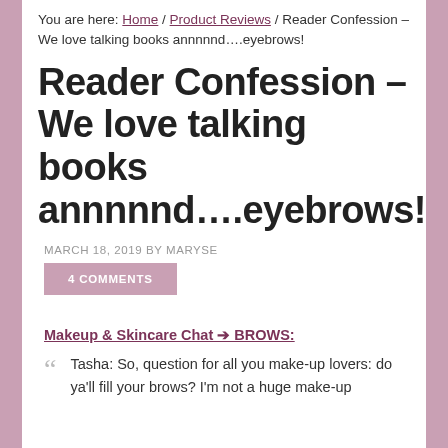You are here: Home / Product Reviews / Reader Confession – We love talking books annnnnd….eyebrows!
Reader Confession – We love talking books annnnnd….eyebrows!
MARCH 18, 2019 BY MARYSE
4 COMMENTS
Makeup & Skincare Chat → BROWS:
Tasha: So, question for all you make-up lovers: do ya'll fill your brows? I'm not a huge make-up